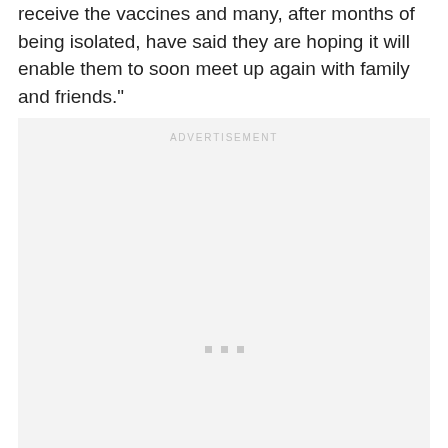receive the vaccines and many, after months of being isolated, have said they are hoping it will enable them to soon meet up again with family and friends."
[Figure (other): Advertisement placeholder box with 'ADVERTISEMENT' label and three small square dots at the bottom center]